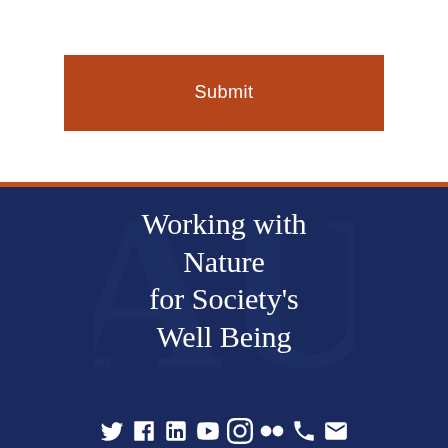[Figure (other): Submit button - orange/brown rectangular button with white text reading 'Submit']
Working with Nature for Society's Well Being
Social media icons: Twitter, Facebook, LinkedIn, YouTube, Instagram, Flickr, Phone, Email